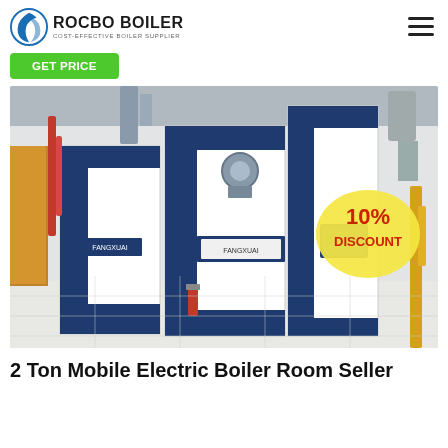[Figure (logo): Rocbo Boiler logo with circular swirl icon and text 'ROCBO BOILER / COST-EFFECTIVE BOILER SUPPLIER']
[Figure (other): Hamburger menu icon (three horizontal lines)]
[Figure (other): Green 'Get Price' button]
[Figure (photo): Industrial boiler room with two large navy blue and white FANGXUAI brand boiler units, piping, a fire extinguisher, and a '10% DISCOUNT' badge overlay in the upper right corner]
2 Ton Mobile Electric Boiler Room Seller